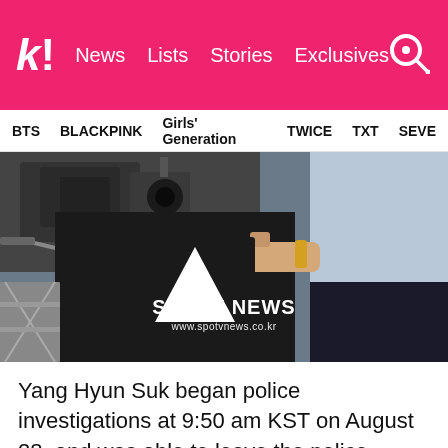k! News Lists Stories Exclusives
BTS BLACKPINK Girls' Generation TWICE TXT SEVE
[Figure (photo): Press scene showing people with cameras and microphones, a person in black clothing with a white triangle visible, and another person in blue shirt on the right. SPOTV NEWS watermark visible with www.spotvnews.co.kr]
Yang Hyun Suk began police investigations at 9:50 am KST on August 28, and was able to leave the police station at 8:30 am KST on August 29 after being questioned for 22 hours